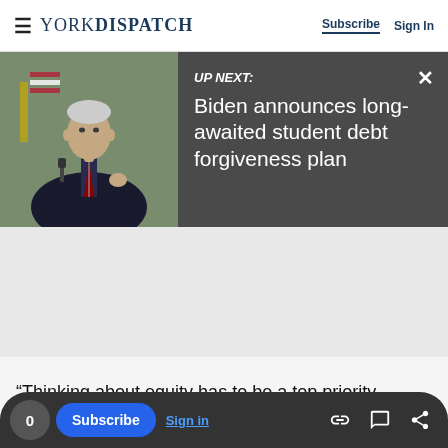YORK DISPATCH — Subscribe | Sign In
[Figure (screenshot): UP NEXT banner with photo of Biden speaking at a podium. Dark gray background. Text reads: UP NEXT: Biden announces long-awaited student debt forgiveness plan. Close (×) button top right.]
“Thinking about equity has to be a top priority said.
0 Subscribe Sign in [link icon] [comment icon] [share icon]